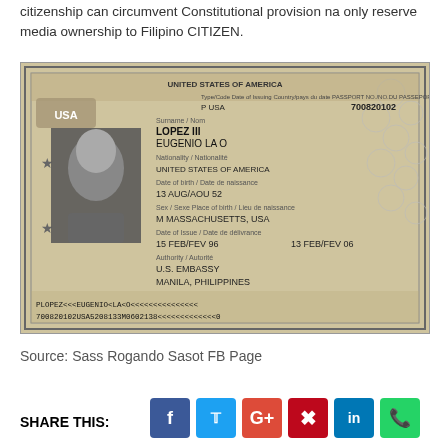citizenship can circumvent Constitutional provision na only reserve media ownership to Filipino CITIZEN.
[Figure (photo): Scanned copy of a US passport for LOPEZ III, EUGENIO LA O, showing passport number 700820102, nationality United States of America, born 13 AUG/AOU 52, sex M, birthplace Massachusetts USA, issued 15 FEB/FEV 96, by U.S. Embassy Manila Philippines.]
Source: Sass Rogando Sasot FB Page
SHARE THIS: